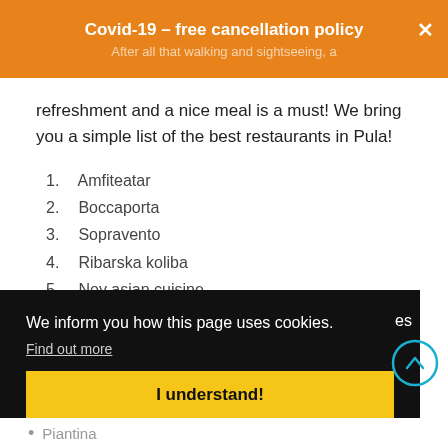Covid-19 - free cancellation policy
After all that walking and sightseeing, a refreshment and a nice meal is a must! We bring you a simple list of the best restaurants in Pula!
1. Amfiteatar
2. Boccaporta
3. Sopravento
4. Ribarska koliba
5. Noy asian cuisine
We inform you how this page uses cookies.
Find out more
I understand!
Piantina